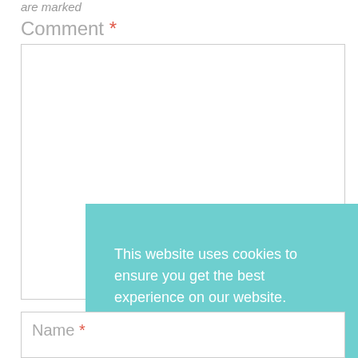are marked
Comment *
[Figure (screenshot): Empty comment text input box with border]
[Figure (screenshot): Cookie consent banner overlay with teal background reading: This website uses cookies to ensure you get the best experience on our website. Learn more. Got it button.]
Name *